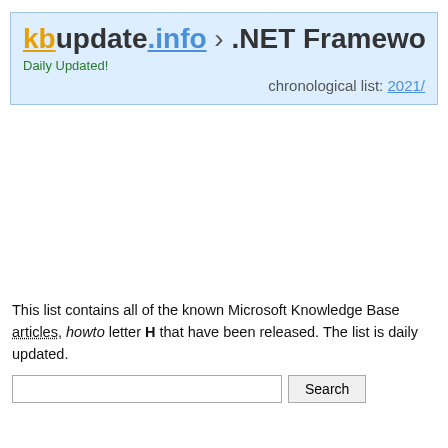kbupdate.info › .NET Framework 2.0 articles,
Daily Updated!
chronological list: 2021/
This list contains all of the known Microsoft Knowledge Base articles, howto letter H that have been released. The list is daily updated.